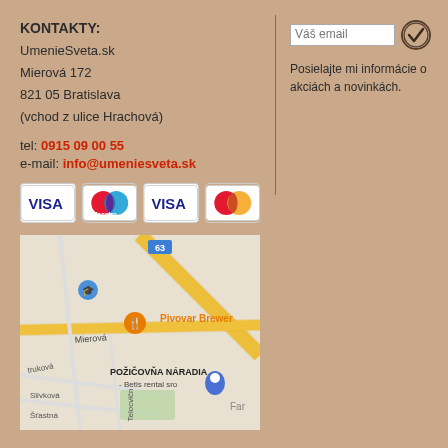KONTAKTY:
UmenieSveta.sk
Mierová 172
821 05 Bratislava
(vchod z ulice Hrachová)
tel: 0915 09 00 55
e-mail: info@umeniesveta.sk
[Figure (other): Payment card logos: VISA, Maestro, VISA, MasterCard]
[Figure (map): Google map showing Mierová street area in Bratislava with Pivovar Brewery and POŽIČOVŇA NÁRADIA - Betis rental sro marked]
Váš email
Posielajte mi informácie o akciách a novinkách.